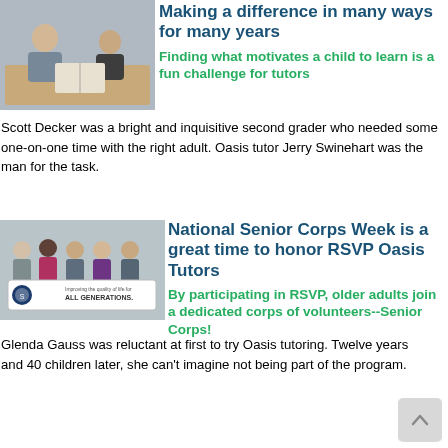[Figure (photo): Two people sitting at a table looking at a book together — an older adult and a child]
Making a difference in many ways for many years
Finding what motivates a child to learn is a fun challenge for tutors
Scott Decker was a bright and inquisitive second grader who needed some one-on-one time with the right adult. Oasis tutor Jerry Swinehart was the man for the task.
[Figure (photo): Group of older adults standing together holding a banner that reads 'Improving the quality of life for ALL GENERATIONS.']
National Senior Corps Week is a great time to honor RSVP Oasis Tutors
By participating in RSVP, older adults join a dedicated corps of volunteers--Senior Corps!
Glenda Gauss was reluctant at first to try Oasis tutoring. Twelve years and 40 children later, she can't imagine not being part of the program.